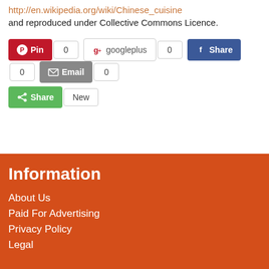http://en.wikipedia.org/wiki/Chinese_cuisine
and reproduced under Collective Commons Licence.
[Figure (screenshot): Social sharing buttons row: Pinterest Pin (0), Google+ googleplus (0), Facebook Share (0), Email (0), and a green Share button with New label]
Information
About Us
Paid For Advertising
Privacy Policy
Legal